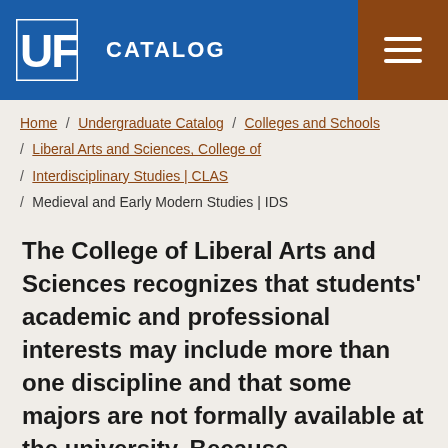UF CATALOG
Home / Undergraduate Catalog / Colleges and Schools / Liberal Arts and Sciences, College of / Interdisciplinary Studies | CLAS / Medieval and Early Modern Studies | IDS
The College of Liberal Arts and Sciences recognizes that students' academic and professional interests may include more than one discipline and that some majors are not formally available at the university. Because interdisciplinary approaches, research, and curricular activities are becoming increasingly appropriate and valuable within the liberal arts and sciences and other fields,